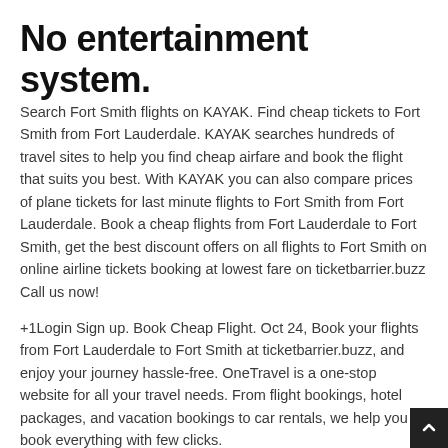No entertainment system.
Search Fort Smith flights on KAYAK. Find cheap tickets to Fort Smith from Fort Lauderdale. KAYAK searches hundreds of travel sites to help you find cheap airfare and book the flight that suits you best. With KAYAK you can also compare prices of plane tickets for last minute flights to Fort Smith from Fort Lauderdale. Book a cheap flights from Fort Lauderdale to Fort Smith, get the best discount offers on all flights to Fort Smith on online airline tickets booking at lowest fare on ticketbarrier.buzz Call us now!
+1Login Sign up. Book Cheap Flight. Oct 24, Book your flights from Fort Lauderdale to Fort Smith at ticketbarrier.buzz, and enjoy your journey hassle-free. OneTravel is a one-stop website for all your travel needs. From flight bookings, hotel packages, and vacation bookings to car rentals, we help you book everything with few clicks.
OneTravel offers cheap airfares that help you save big. To get lowest flight ticket prices on Fort Lauderdale, Fort Lauderdale